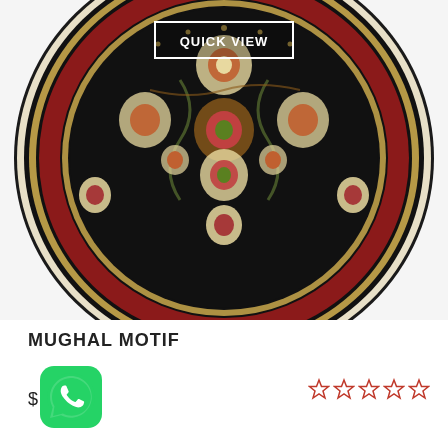[Figure (photo): Round Persian/Mughal style rug with black center field, red border, and cream/gold floral motifs. A 'QUICK VIEW' button overlay appears near the top center of the image.]
MUGHAL MOTIF
$
[Figure (logo): WhatsApp green logo icon]
★★★★★ (empty/outline stars rating)